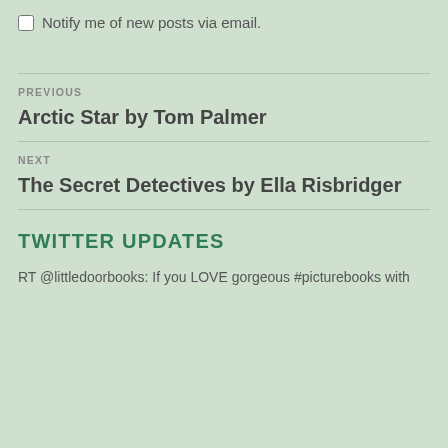Notify me of new posts via email.
PREVIOUS
Arctic Star by Tom Palmer
NEXT
The Secret Detectives by Ella Risbridger
TWITTER UPDATES
RT @littledoorbooks: If you LOVE gorgeous #picturebooks with